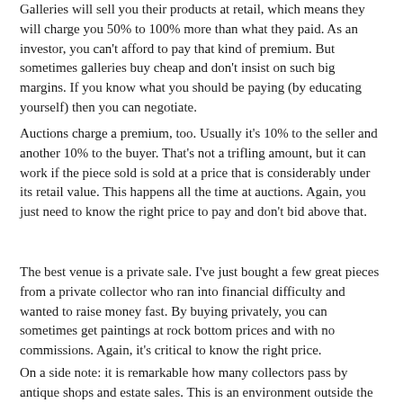Galleries will sell you their products at retail, which means they will charge you 50% to 100% more than what they paid. As an investor, you can't afford to pay that kind of premium. But sometimes galleries buy cheap and don't insist on such big margins. If you know what you should be paying (by educating yourself) then you can negotiate.
Auctions charge a premium, too. Usually it's 10% to the seller and another 10% to the buyer. That's not a trifling amount, but it can work if the piece sold is sold at a price that is considerably under its retail value. This happens all the time at auctions. Again, you just need to know the right price to pay and don't bid above that.
The best venue is a private sale. I've just bought a few great pieces from a private collector who ran into financial difficulty and wanted to raise money fast. By buying privately, you can sometimes get paintings at rock bottom prices and with no commissions. Again, it's critical to know the right price.
On a side note: it is remarkable how many collectors pass by antique shops and estate sales. This is an environment outside the gallery scene or auction house that may house bargains and sleepers. That